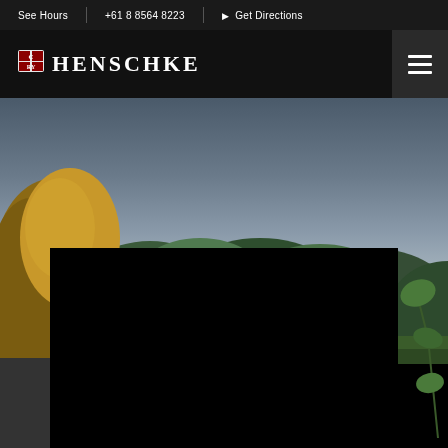See Hours | +61 8 8564 8223 | Get Directions
HENSCHKE
[Figure (photo): Hero image showing a woman with highlighted hair looking down in a vineyard, with green trees and overcast sky in the background. A large dark/black rectangle overlays the lower-center portion of the image. A vine leaf is partially visible on the right edge.]